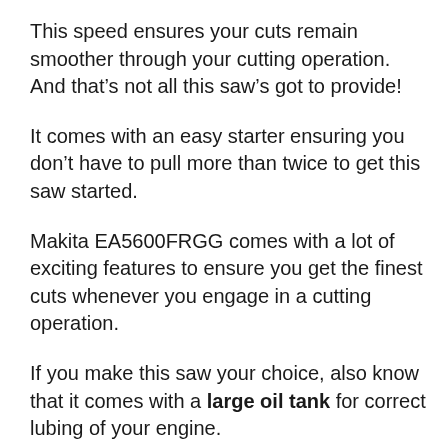This speed ensures your cuts remain smoother through your cutting operation. And that's not all this saw's got to provide!
It comes with an easy starter ensuring you don't have to pull more than twice to get this saw started.
Makita EA5600FRGG comes with a lot of exciting features to ensure you get the finest cuts whenever you engage in a cutting operation.
If you make this saw your choice, also know that it comes with a large oil tank for correct lubing of your engine.
When you get a hold of this saw, its long 20” bar will surely appeal to you. This bar packs the